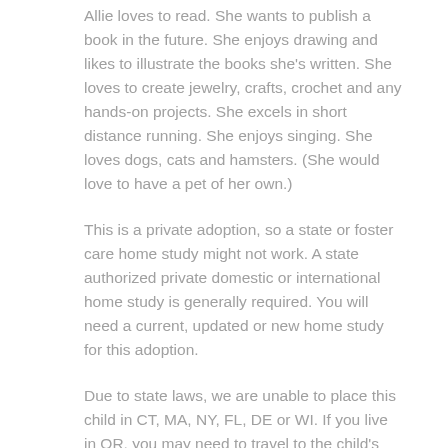Allie loves to read. She wants to publish a book in the future. She enjoys drawing and likes to illustrate the books she's written. She loves to create jewelry, crafts, crochet and any hands-on projects. She excels in short distance running. She enjoys singing. She loves dogs, cats and hamsters. (She would love to have a pet of her own.)
This is a private adoption, so a state or foster care home study might not work. A state authorized private domestic or international home study is generally required. You will need a current, updated or new home study for this adoption.
Due to state laws, we are unable to place this child in CT, MA, NY, FL, DE or WI. If you live in OR, you may need to travel to the child's state to finalize the adoption. If you haven't started your home study, please contact us for information on how to begin one. However, if we have home study ready family for this child, we will consider them first. Therefore, if you are willing to take a child between the ages of 9 and 15, we suggest you begin the process as soon as possible.
We know that adopting a child over the age of 9 is going to be difficult, but we feel confident that there are parents of all